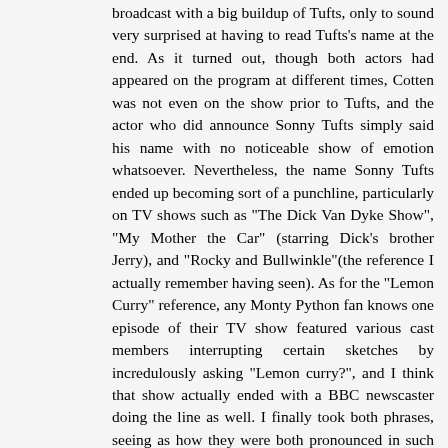broadcast with a big buildup of Tufts, only to sound very surprised at having to read Tufts's name at the end. As it turned out, though both actors had appeared on the program at different times, Cotten was not even on the show prior to Tufts, and the actor who did announce Sonny Tufts simply said his name with no noticeable show of emotion whatsoever. Nevertheless, the name Sonny Tufts ended up becoming sort of a punchline, particularly on TV shows such as "The Dick Van Dyke Show", "My Mother the Car" (starring Dick's brother Jerry), and "Rocky and Bullwinkle"(the reference I actually remember having seen). As for the "Lemon Curry" reference, any Monty Python fan knows one episode of their TV show featured various cast members interrupting certain sketches by incredulously asking "Lemon curry?", and I think that show actually ended with a BBC newscaster doing the line as well. I finally took both phrases, seeing as how they were both pronounced in such an unusual manner, and put them together in one post, hoping someone else would reply